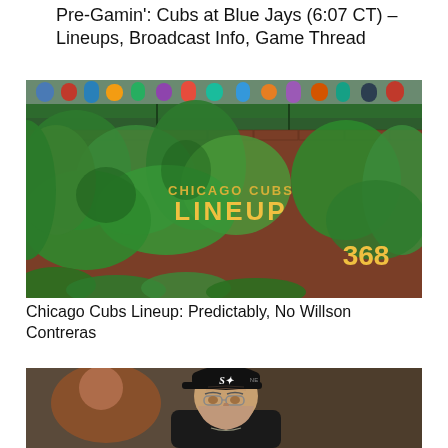Pre-Gamin': Cubs at Blue Jays (6:07 CT) – Lineups, Broadcast Info, Game Thread
[Figure (photo): Wrigley Field ivy-covered outfield wall with 'CHICAGO CUBS LINEUP' text in gold/yellow letters and the number 368 in yellow on the right side. Fans visible above the wall.]
Chicago Cubs Lineup: Predictably, No Willson Contreras
[Figure (photo): Close-up photo of a baseball manager wearing a black Chicago White Sox cap and glasses, looking upward. A blurred player in an orange uniform is visible in the background to the left.]